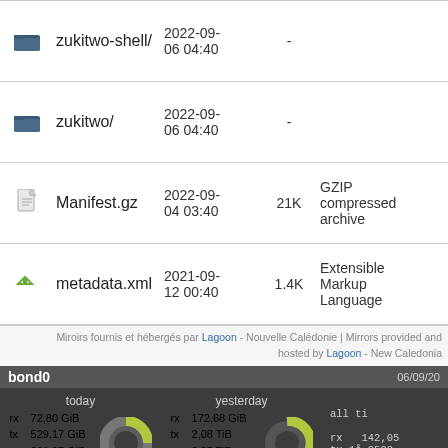|  | Name | Date | Size | Type |
| --- | --- | --- | --- | --- |
| [folder] | zukitwo-shell/ | 2022-09-06 04:40 | - |  |
| [folder] | zukitwo/ | 2022-09-06 04:40 | - |  |
| [gz] | Manifest.gz | 2022-09-04 03:40 | 21K | GZIP compressed archive |
| [xml] | metadata.xml | 2021-09-12 00:40 | 1.4K | Extensible Markup Language |
Miroirs fournis et hébergés par Lagoon - Nouvelle Calédonie | Mirrors provided and hosted by Lagoon - New Caledonia
[Figure (infographic): bond0 network statistics widget showing today and yesterday traffic. Today: rx 72,80 GiB, tx 529,17 GiB, = 601,97 GiB, 193,66 Mbit/s. Yesterday: rx 172,68 GiB, tx 2,08 TiB, = 2,25 TiB, 228,73 Mbit/s. All time: rx 142,05..., tx 1å 2593,..., = 1å 2735,... since 18/09/... Month labels: sept. '22 and août '22. Date: 06/09/20]
sept. '22    août '22